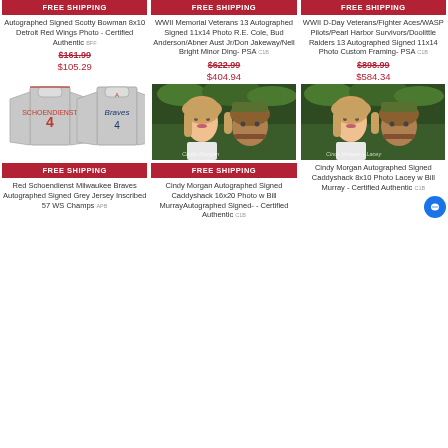FREE SHIPPING
Autographed Signed Scotty Bowman 8x10 Detroit Red Wings Photo - Certified Authentic
$161.99
$105.29
FREE SHIPPING
WWII Memorial Veterans 13 Autographed Signed 11x14 Photo R.E. Cole, Bud Anderson/Abner Aust Jr/Don Jakeway/Nell Bright Minor Ding- PSA
$622.99
$404.94
FREE SHIPPING
WWII D-Day Veterans/Fighter Aces/WASP Pilots/Pearl Harbor Survivors/Doolittle Raiders 13 Autographed Signed 11x14 Photo Custom Framing- PSA
$898.99
$584.34
[Figure (photo): Two grey baseball jerseys (Braves #4)]
FREE SHIPPING
Red Schoendienst Milwaukee Braves Autographed Signed Grey Jersey Inscribed 57 WS Champs
[Figure (photo): Photo of woman and man (Cindy Morgan and Bill Murray) from Caddyshack]
FREE SHIPPING
Cindy Morgan Autographed Signed Caddyshack 16x20 Photo w Bill MurrayAutographed Signed- - Certified Authentic
[Figure (photo): Photo of woman and man (Cindy Morgan and Bill Murray) from Caddyshack]
Cindy Morgan Autographed Signed Caddyshack 8x10 Photo Lacey w Bill Murray - Certified Authentic